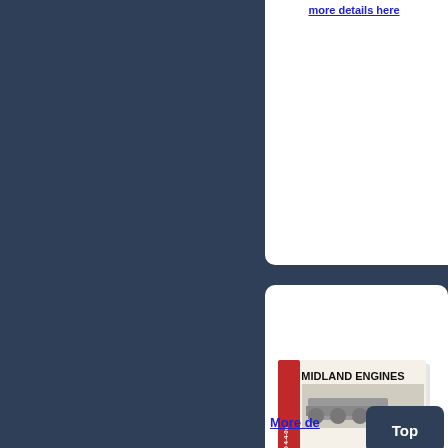[Figure (screenshot): Screenshot of a book listing website. Dark blue sidebar on left. Two white cards on the right column. The top card is partially visible showing a blue hyperlink. The bottom card shows the book 'Midland Engines No.3' with its cover image (red and white, locomotive diagram, WILD SWAN PUBLICATIONS). A 'More details' link and a dark 'Top' button are visible at the bottom.]
Midland Engines No.3
More details